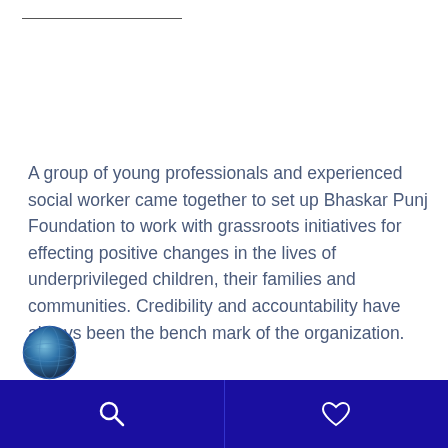A group of young professionals and experienced social worker came together to set up Bhaskar Punj Foundation to work with grassroots initiatives for effecting positive changes in the lives of underprivileged children, their families and communities. Credibility and accountability have always been the bench mark of the organization.
[Figure (illustration): Globe/earth icon at bottom left]
Search and heart/favorite icons in dark blue navigation bar